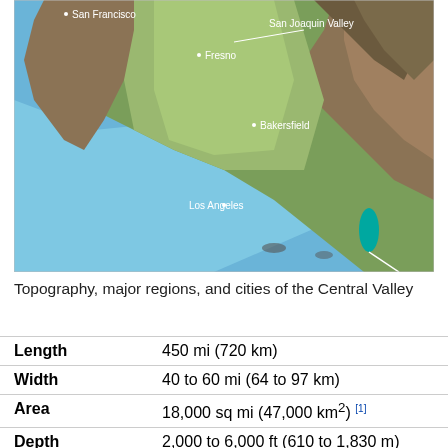[Figure (map): Topographic 3D-style satellite map showing central and southern California including San Francisco, Fresno, San Joaquin Valley, Bakersfield, and Los Angeles. The Central Valley and surrounding mountain ranges (Sierra Nevada, Coast Ranges) are visible. A small teal lake/reservoir is visible in the lower right.]
Topography, major regions, and cities of the Central Valley
| Length | 450 mi (720 km) |
| Width | 40 to 60 mi (64 to 97 km) |
| Area | 18,000 sq mi (47,000 km²) [1] |
| Depth | 2,000 to 6,000 ft (610 to 1,830 m) |
| Geology |  |
| Type | Alluvial |